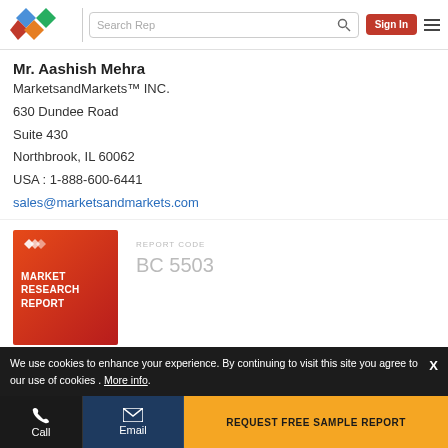MarketsandMarkets navigation bar with logo, search, sign in
Mr. Aashish Mehra
MarketsandMarkets™ INC.
630 Dundee Road
Suite 430
Northbrook, IL 60062
USA : 1-888-600-6441
sales@marketsandmarkets.com
[Figure (illustration): Market Research Report cover image with red/orange gradient background and white logo]
REPORT CODE
BC 5503
We use cookies to enhance your experience. By continuing to visit this site you agree to our use of cookies . More info.
Call  Email  REQUEST FREE SAMPLE REPORT